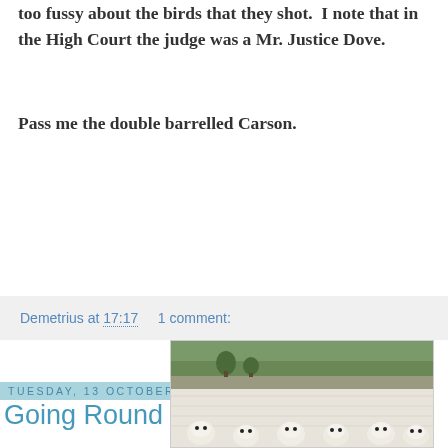too fussy about the birds that they shot. I note that in the High Court the judge was a Mr. Justice Dove.
Pass me the double barrelled Carson.
Demetrius at 17:17    1 comment:
Tuesday, 13 October 2015
Going Round In Circles
[Figure (photo): A large flock of white sheep filling a field, with green hills in the background.]